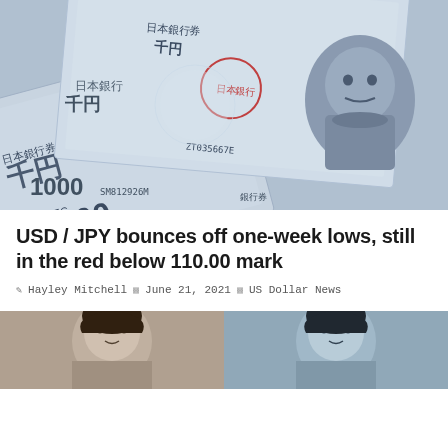[Figure (photo): Photo of Japanese 1000 yen banknotes spread out, showing the face portrait and Japanese text/numbers]
USD / JPY bounces off one-week lows, still in the red below 110.00 mark
Hayley Mitchell   June 21, 2021   US Dollar News
A combination of factors prompted further selling around the USD / JPY on Monday. Falling US bond yields kept dollar bulls on the defensive and exerted some pressure. The risk aversi...
[Figure (photo): Two portrait photos at the bottom of the page, partially visible]
[Figure (photo): Second portrait photo at the bottom right, partially visible]